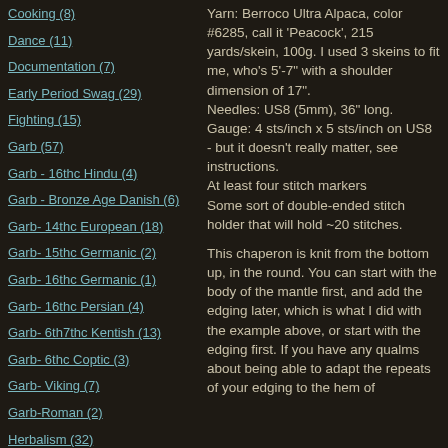Cooking (8)
Dance (11)
Documentation (7)
Early Period Swag (29)
Fighting (15)
Garb (57)
Garb - 16thc Hindu (4)
Garb - Bronze Age Danish (6)
Garb- 14thc European (18)
Garb- 15thc Germanic (2)
Garb- 16thc Germanic (1)
Garb- 16thc Persian (4)
Garb- 6th7thc Kentish (13)
Garb- 6thc Coptic (3)
Garb- Viking (7)
Garb-Roman (2)
Herbalism (32)
Music (13)
Yarn: Berroco Ultra Alpaca, color #6285, call it 'Peacock', 215 yards/skein, 100g.  I used 3 skeins to fit me, who's 5'-7" with a shoulder dimension of 17".
Needles: US8 (5mm), 36" long.
Gauge: 4 sts/inch x 5 sts/inch on US8 - but it doesn't really matter, see instructions.
At least four stitch markers
Some sort of double-ended stitch holder that will hold ~20 stitches.
This chaperon is knit from the bottom up, in the round.  You can start with the body of the mantle first, and add the edging later, which is what I did with the example above, or start with the edging first.  If you have any qualms about being able to adapt the repeats of your edging to the hem of